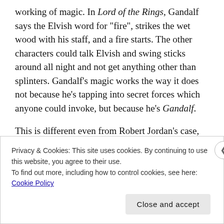working of magic. In Lord of the Rings, Gandalf says the Elvish word for "fire", strikes the wet wood with his staff, and a fire starts. The other characters could talk Elvish and swing sticks around all night and not get anything other than splinters. Gandalf's magic works the way it does not because he's tapping into secret forces which anyone could invoke, but because he's Gandalf.
This is different even from Robert Jordan's case, which it superficially resembles. Rand from the Wheel of Time may be the Dragon Reborn, but his identity as the Dragon merely means that he can channel really, really well. The
Privacy & Cookies: This site uses cookies. By continuing to use this website, you agree to their use.
To find out more, including how to control cookies, see here: Cookie Policy